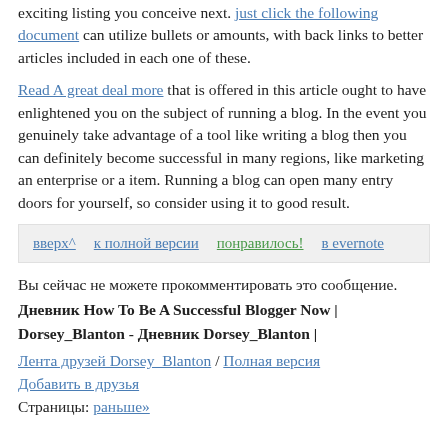exciting listing you conceive next. just click the following document can utilize bullets or amounts, with back links to better articles included in each one of these.
Read A great deal more that is offered in this article ought to have enlightened you on the subject of running a blog. In the event you genuinely take advantage of a tool like writing a blog then you can definitely become successful in many regions, like marketing an enterprise or a item. Running a blog can open many entry doors for yourself, so consider using it to good result.
вверх^   к полной версии   понравилось!   в evernote
Вы сейчас не можете прокомментировать это сообщение.
Дневник How To Be A Successful Blogger Now | Dorsey_Blanton - Дневник Dorsey_Blanton |
Лента друзей Dorsey_Blanton / Полная версия
Добавить в друзья
Страницы: раньше»